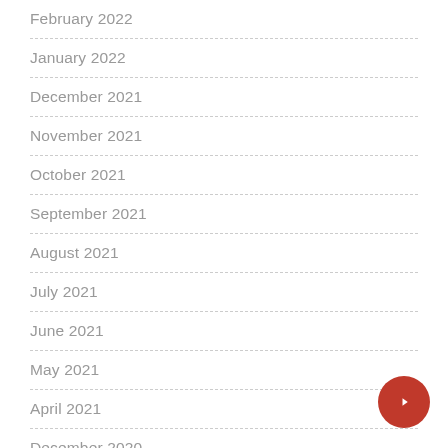February 2022
January 2022
December 2021
November 2021
October 2021
September 2021
August 2021
July 2021
June 2021
May 2021
April 2021
December 2020